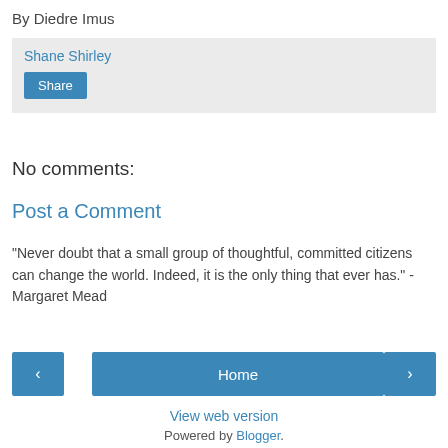By Diedre Imus
Shane Shirley
Share
No comments:
Post a Comment
"Never doubt that a small group of thoughtful, committed citizens can change the world. Indeed, it is the only thing that ever has." - Margaret Mead
‹
Home
›
View web version
Powered by Blogger.